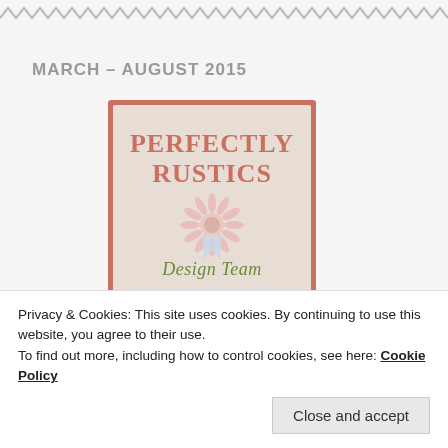[Figure (other): Wavy zigzag decorative border at the top of the page]
MARCH – AUGUST 2015
[Figure (logo): Perfectly Rustics Design Team badge/logo with coral/salmon colored border, text 'PERFECTLY RUSTICS' in salmon/coral serif font, a rosette ribbon decoration in the center, and 'Design Team' in olive green script font below]
Privacy & Cookies: This site uses cookies. By continuing to use this website, you agree to their use.
To find out more, including how to control cookies, see here: Cookie Policy
Close and accept